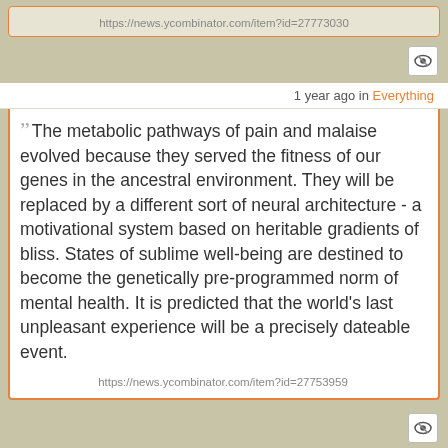https://news.ycombinator.com/item?id=27773030
1 year ago in Everything
" The metabolic pathways of pain and malaise evolved because they served the fitness of our genes in the ancestral environment. They will be replaced by a different sort of neural architecture - a motivational system based on heritable gradients of bliss. States of sublime well-being are destined to become the genetically pre-programmed norm of mental health. It is predicted that the world's last unpleasant experience will be a precisely dateable event.
https://news.ycombinator.com/item?id=27753959
1 year ago in Everything
" I've found the iPad Pro to be fabulous for video editing.